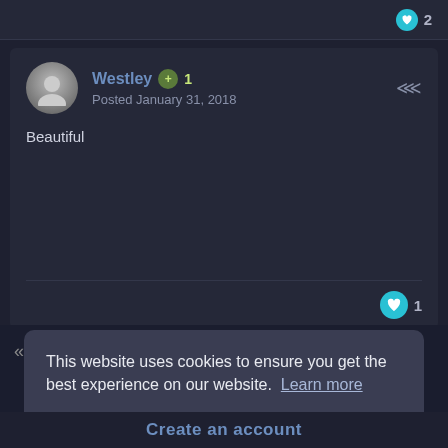[Figure (screenshot): Heart/like icon with count 2 at top right]
Westley +1
Posted January 31, 2018
Beautiful
[Figure (screenshot): Heart/like icon with count 1 at bottom right of post]
This website uses cookies to ensure you get the best experience on our website.  Learn more
Got it!
Create an account